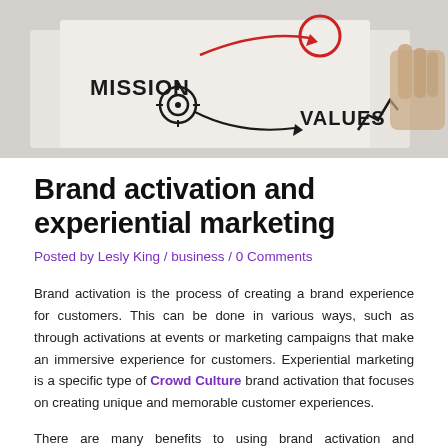[Figure (photo): Whiteboard or paper with hand-written business strategy diagram showing words MISSION and VALUES with arrows and a target/crosshair symbol, with a hand visible holding a pen]
Brand activation and experiential marketing
Posted by Lesly King / business / 0 Comments
Brand activation is the process of creating a brand experience for customers. This can be done in various ways, such as through activations at events or marketing campaigns that make an immersive experience for customers. Experiential marketing is a specific type of Crowd Culture brand activation that focuses on creating unique and memorable customer experiences.
There are many benefits to using brand activation and experiential marketing. First, it can help create a stronger connection between customers and the brand. By immersing customers in an engaging experience, brands can help customers form deeper relationships